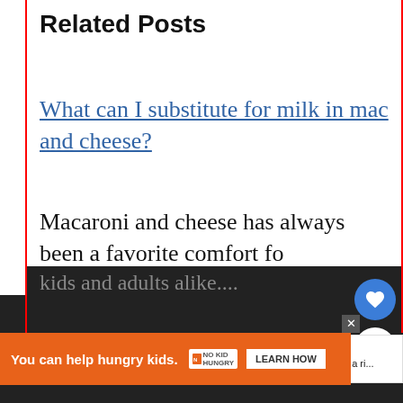Related Posts
What can I substitute for milk in mac and cheese?
Macaroni and cheese has always been a favorite comfort food for kids and adults alike....
[Figure (screenshot): Social sharing buttons: heart/like button (blue circle) and share button (white circle)]
[Figure (screenshot): What's Next overlay showing a food image and text: Can you cook ramen in a ri...]
[Figure (screenshot): Advertisement banner: You can help hungry kids. No Kid Hungry. Learn How button.]